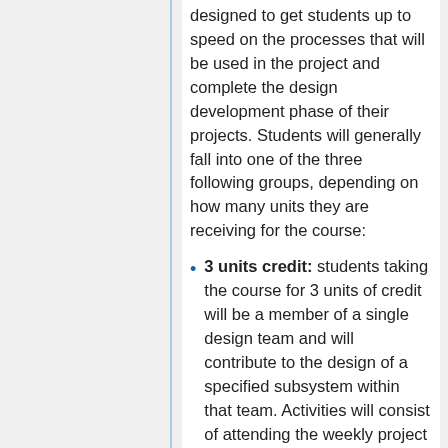designed to get students up to speed on the processes that will be used in the project and complete the design development phase of their projects. Students will generally fall into one of the three following groups, depending on how many units they are receiving for the course:
3 units credit: students taking the course for 3 units of credit will be a member of a single design team and will contribute to the design of a specified subsystem within that team. Activities will consist of attending the weekly project and team meetings, turning in homework sets for the first portion of the course, and preparing materials for the SubT.
6-9 units credit: students taking the course for 6-9 units will be a member